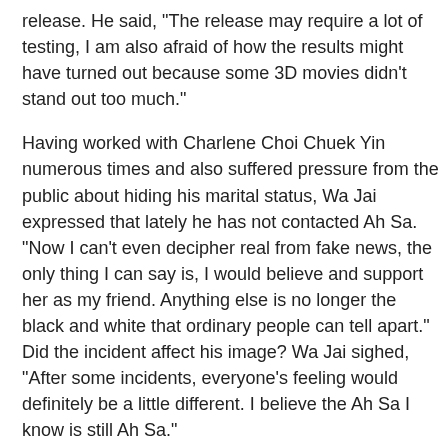release. He said, "The release may require a lot of testing, I am also afraid of how the results might have turned out because some 3D movies didn't stand out too much."
Having worked with Charlene Choi Chuek Yin numerous times and also suffered pressure from the public about hiding his marital status, Wa Jai expressed that lately he has not contacted Ah Sa. "Now I can't even decipher real from fake news, the only thing I can say is, I would believe and support her as my friend. Anything else is no longer the black and white that ordinary people can tell apart." Did the incident affect his image? Wa Jai sighed, "After some incidents, everyone's feeling would definitely be a little different. I believe the Ah Sa I know is still Ah Sa."
Big S in the event expressed that her idol since childhood has been Lau Tak Wa. About this chance to work with him and even kiss him in the film, Big S said, "I once dreamed about kissing Wa Jai, this time it came true. In the film I had to force a kiss on him. At first I grabbed his ear then I forced a kiss on him, a very unruly kiss. After the shoot I truly couldn't sleep. The feeling was very exciting and very